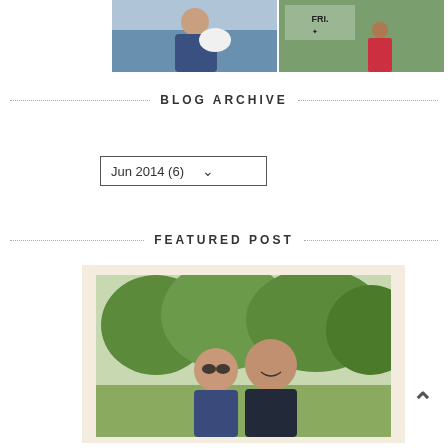[Figure (photo): Two photos at the top: left photo shows a person holding a white cat/dog near water; right photo shows a person on a path with text overlay 'FRI.']
BLOG ARCHIVE
Jun 2014 (6)
FEATURED POST
[Figure (photo): Featured post photo showing two people smiling outdoors with trees in background, displayed with a warm beige/cream frame border]